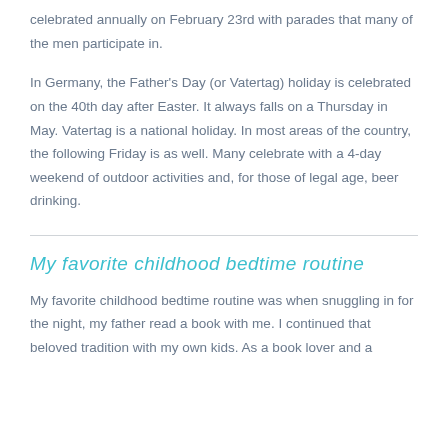celebrated annually on February 23rd with parades that many of the men participate in.
In Germany, the Father's Day (or Vatertag) holiday is celebrated on the 40th day after Easter. It always falls on a Thursday in May. Vatertag is a national holiday. In most areas of the country, the following Friday is as well. Many celebrate with a 4-day weekend of outdoor activities and, for those of legal age, beer drinking.
My favorite childhood bedtime routine
My favorite childhood bedtime routine was when snuggling in for the night, my father read a book with me. I continued that beloved tradition with my own kids. As a book lover and a